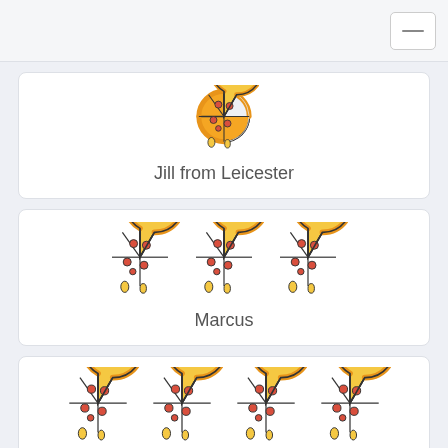[Figure (illustration): One pizza icon representing Jill from Leicester's pizza count]
Jill from Leicester
[Figure (illustration): Three pizza icons representing Marcus's pizza count]
Marcus
[Figure (illustration): Seven or more pizza icons representing a third person's pizza count (partially visible)]